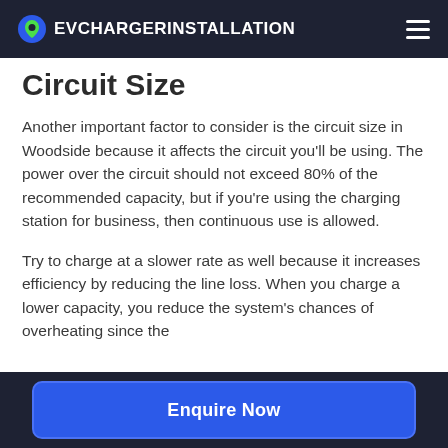EVCHARGERINSTALLATION
Circuit Size
Another important factor to consider is the circuit size in Woodside because it affects the circuit you'll be using. The power over the circuit should not exceed 80% of the recommended capacity, but if you're using the charging station for business, then continuous use is allowed.
Try to charge at a slower rate as well because it increases efficiency by reducing the line loss. When you charge a lower capacity, you reduce the system's chances of overheating since the
Enquire Now